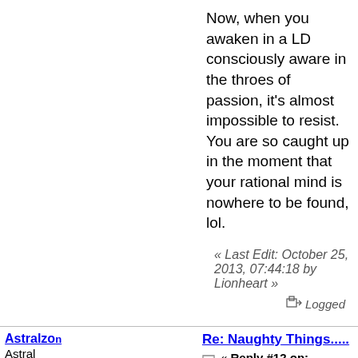Now, when you awaken in a LD consciously aware in the throes of passion, it's almost impossible to resist. You are so caught up in the moment that your rational mind is nowhere to be found, lol.
« Last Edit: October 25, 2013, 07:44:18 by Lionheart »
Logged
Astralzon
Astral Energy 5
Offline
Posts: 1627
Re: Naughty Things.....
« Reply #12 on: October 25, 2013, 09:31:34 »
Quote from: Lionheart on October 25, 2013, 07:37:32
The urge is always there, we are "animalistic" by nature. But when you fight that urge, you are handsomely rewarded for your efforts! It's almost like you get elevated to a new level. But you will still be tested over and over again.
I agree and would add that sex is only a small